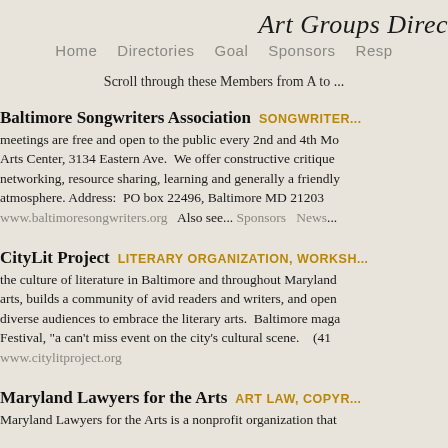Art Groups Direc
Home   Directories   Goal   Sponsors   Resp
Scroll through these Members from A to ...
Baltimore Songwriters Association   SONGWRITERS
meetings are free and open to the public every 2nd and 4th Mo... Arts Center, 3134 Eastern Ave.  We offer constructive critique networking, resource sharing, learning and generally a friendly atmosphere. Address:  PO box 22496, Baltimore MD 21203  www.baltimoresongwriters.org   Also see...  Sponsors   News...
CityLit Project   LITERARY ORGANIZATION, WORKSHOP
the culture of literature in Baltimore and throughout Maryland arts, builds a community of avid readers and writers, and open diverse audiences to embrace the literary arts.  Baltimore maga Festival, "a can't miss event on the city's cultural scene.    (41...  www.citylitproject.org
Maryland Lawyers for the Arts   ART LAW, COPYR
Maryland Lawyers for the Arts is a nonprofit organization that